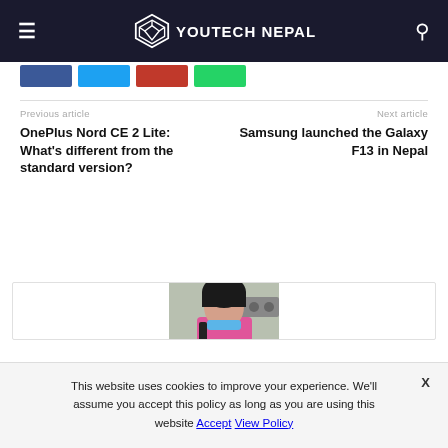YOUTECH NEPAL
Previous article
Next article
OnePlus Nord CE 2 Lite: What's different from the standard version?
Samsung launched the Galaxy F13 in Nepal
[Figure (photo): Author photo - woman in pink jacket with mask around chin, street scene background]
This website uses cookies to improve your experience. We'll assume you accept this policy as long as you are using this website Accept View Policy